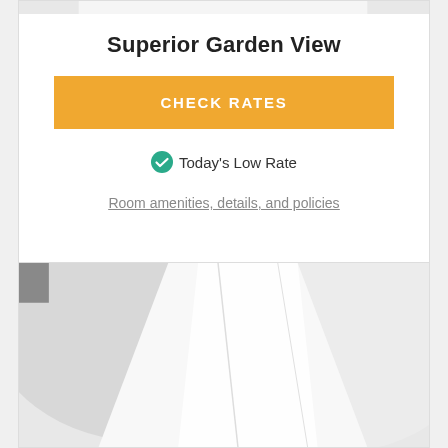[Figure (photo): Partial view of white hotel room pillows/bedding at the top of the page]
Superior Garden View
CHECK RATES
Today's Low Rate
Room amenities, details, and policies
[Figure (photo): Close-up photo of white hotel room pillows and bedding linens]